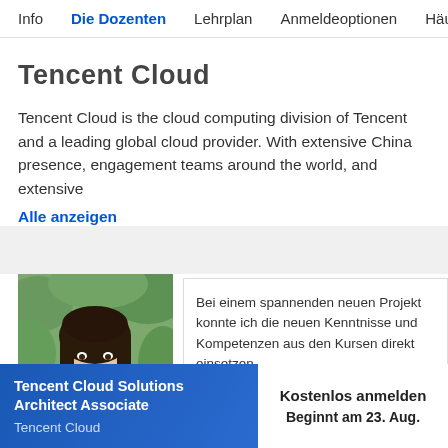Info  Die Dozenten  Lehrplan  Anmeldeoptionen  Häuf
Tencent Cloud
Tencent Cloud is the cloud computing division of Tencent and a leading global cloud provider. With extensive China presence, engagement teams around the world, and extensive
Alle anzeigen
[Figure (photo): Portrait photo of a young woman with long dark hair, smiling, with green foliage in background]
Bei einem spannenden neuen Projekt konnte ich die neuen Kenntnisse und Kompetenzen aus den Kursen direkt einsetzen
Tencent Cloud Solutions Architect Associate
Tencent Cloud
Kostenlos anmelden
Beginnt am 23. Aug.